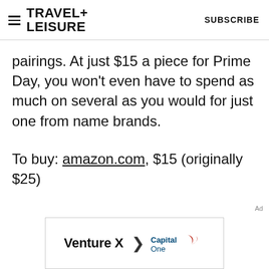TRAVEL+ LEISURE | SUBSCRIBE
pairings. At just $15 a piece for Prime Day, you won't even have to spend as much on several as you would for just one from name brands.
To buy: amazon.com, $15 (originally $25)
[Figure (other): Capital One Venture X advertisement banner with text 'Venture X > Capital One']